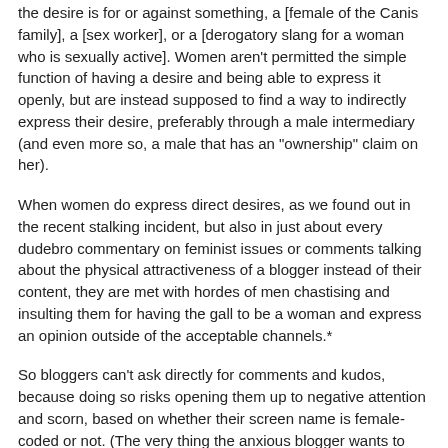the desire is for or against something, a [female of the Canis family], a [sex worker], or a [derogatory slang for a woman who is sexually active]. Women aren't permitted the simple function of having a desire and being able to express it openly, but are instead supposed to find a way to indirectly express their desire, preferably through a male intermediary (and even more so, a male that has an "ownership" claim on her).
When women do express direct desires, as we found out in the recent stalking incident, but also in just about every dudebro commentary on feminist issues or comments talking about the physical attractiveness of a blogger instead of their content, they are met with hordes of men chastising and insulting them for having the gall to be a woman and express an opinion outside of the acceptable channels.*
So bloggers can't ask directly for comments and kudos, because doing so risks opening them up to negative attention and scorn, based on whether their screen name is female-coded or not. (The very thing the anxious blogger wants to avoid.)